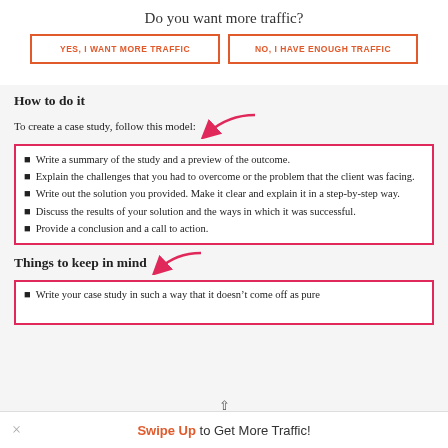Do you want more traffic?
YES, I WANT MORE TRAFFIC
NO, I HAVE ENOUGH TRAFFIC
How to do it
To create a case study, follow this model:
Write a summary of the study and a preview of the outcome.
Explain the challenges that you had to overcome or the problem that the client was facing.
Write out the solution you provided. Make it clear and explain it in a step-by-step way.
Discuss the results of your solution and the ways in which it was successful.
Provide a conclusion and a call to action.
Things to keep in mind
Write your case study in such a way that it doesn't come off as pure
Swipe Up to Get More Traffic!